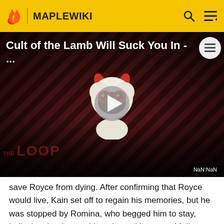MAPLEWIKI
[Figure (screenshot): Video thumbnail for 'Cult of the Lamb Will Suck You In -...' showing a cartoon lamb character with devil horns and red eyes on a dark diagonal-striped background, with a play button and 'THE LOOP' watermark. Timer shows NaN:NaN.]
save Royce from dying. After confirming that Royce would live, Kain set off to regain his memories, but he was stopped by Romina, who begged him to stay, believing that he would get hurt without any Malice Stones. Amos then revealed that, after going through the research